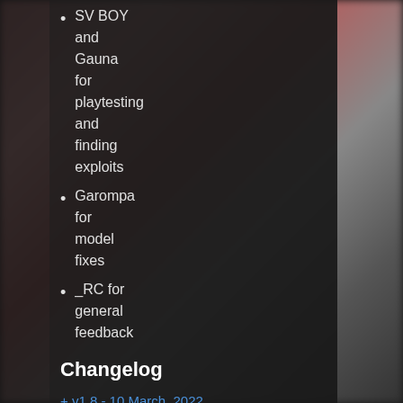SV BOY and Gauna for playtesting and finding exploits
Garompa for model fixes
_RC for general feedback
Changelog
+ v1.8 - 10 March, 2022
+ v1.7 - 11 September, 2021
+ v1.6 - 21 July, 2020
+ v1.5.3 - 28 February, 2020
+ v1.5.2 - 10 February, 2020
+ v1.5.1 - 4 February, 2020
+ v1.5 - 25 November, 2019
+ v1.4.1 - 15 August, 2019